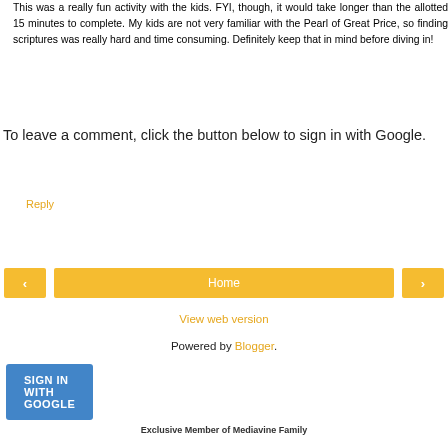This was a really fun activity with the kids. FYI, though, it would take longer than the allotted 15 minutes to complete. My kids are not very familiar with the Pearl of Great Price, so finding scriptures was really hard and time consuming. Definitely keep that in mind before diving in!
Reply
To leave a comment, click the button below to sign in with Google.
[Figure (other): Blue 'SIGN IN WITH GOOGLE' button]
[Figure (other): Navigation bar with left arrow, Home button, and right arrow in yellow/gold color]
View web version
Powered by Blogger.
Exclusive Member of Mediavine Family